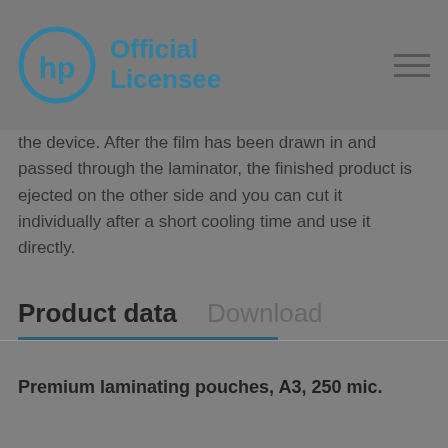HP Official Licensee
the device. After the film has been drawn in and passed through the laminator, the finished product is ejected on the other side and you can cut it individually after a short cooling time and use it directly.
Product data
Download
Premium laminating pouches, A3, 250 mic.